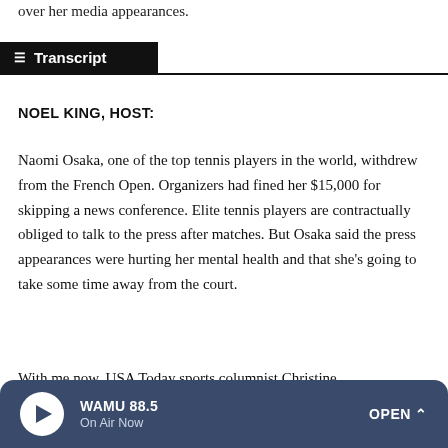over her media appearances.
Transcript
NOEL KING, HOST:
Naomi Osaka, one of the top tennis players in the world, withdrew from the French Open. Organizers had fined her $15,000 for skipping a news conference. Elite tennis players are contractually obliged to talk to the press after matches. But Osaka said the press appearances were hurting her mental health and that she's going to take some time away from the court.
With me now, USA Today sports columnist Christine
WAMU 88.5 On Air Now OPEN